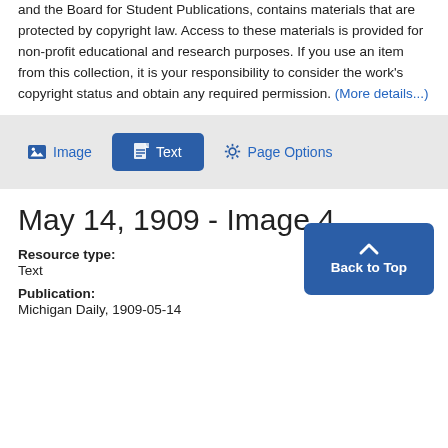and the Board for Student Publications, contains materials that are protected by copyright law. Access to these materials is provided for non-profit educational and research purposes. If you use an item from this collection, it is your responsibility to consider the work's copyright status and obtain any required permission. (More details...)
[Figure (screenshot): Toolbar with Image, Text, and Page Options buttons]
May 14, 1909 - Image 4
Resource type:
Text
Publication:
Michigan Daily, 1909-05-14